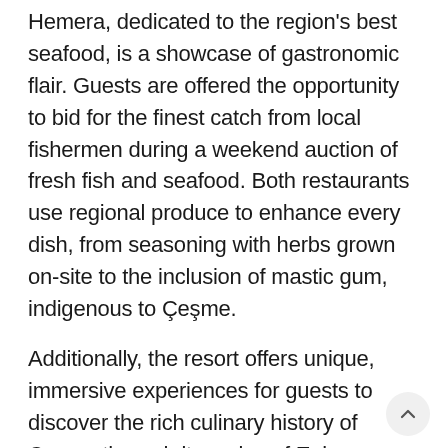Hemera, dedicated to the region's best seafood, is a showcase of gastronomic flair. Guests are offered the opportunity to bid for the finest catch from local fishermen during a weekend auction of fresh fish and seafood. Both restaurants use regional produce to enhance every dish, from seasoning with herbs grown on-site to the inclusion of mastic gum, indigenous to Çeşme.
Additionally, the resort offers unique, immersive experiences for guests to discover the rich culinary history of Çeşme through its series of Epicurean Moments. Well known as a wine-making region, the Çeşme peninsula is perfect for gourmet adventures. To inspire guests to sample local delicacies, the resort regularly hosts a series of wine and cheese pairings,